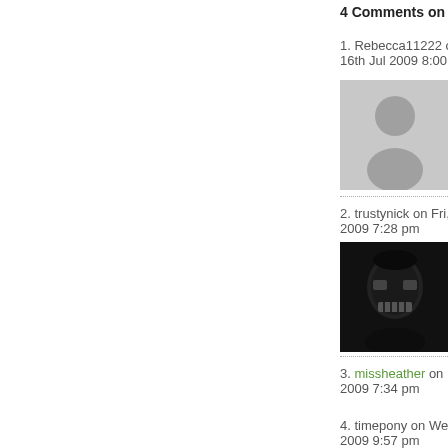4 Comments on Greenpo…
1. Rebecca11222 on Thu, 16th Jul 2009 8:00 pm
[Figure (photo): Default grey avatar silhouette placeholder image for Rebecca11222]
2. trustynick on Fri, 17th Jul 2009 7:28 pm
[Figure (photo): Dark profile avatar image for trustynick showing a stylized face/skull artwork]
3. missheather on Fri, 17th 2009 7:34 pm
[Figure (photo): Default grey avatar silhouette placeholder image for missheather]
4. timepony on Wed, 22nd 2009 9:57 pm